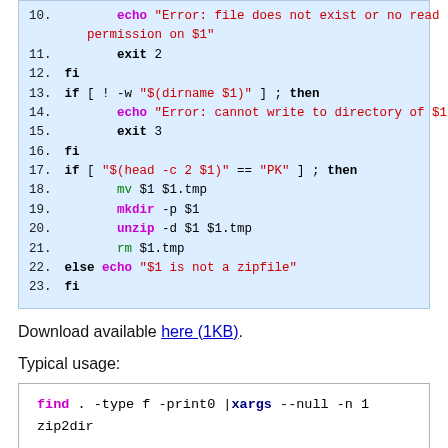[Figure (screenshot): Code block showing shell script lines 10-23 with syntax highlighting: keywords in bold, strings in red, commands in green]
Download available here (1KB).
Typical usage:
[Figure (screenshot): Code block showing: find . -type f -print0 |xargs --null -n 1 zip2dir]